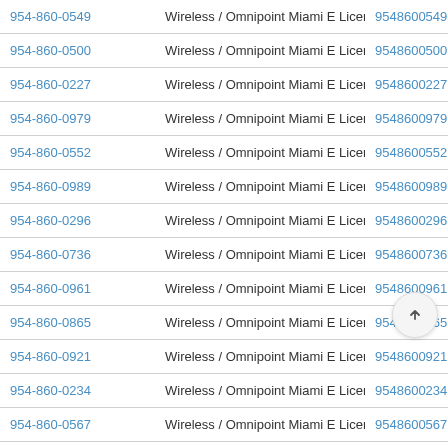| Phone | Description | Number |
| --- | --- | --- |
| 954-860-0549 | Wireless / Omnipoint Miami E License | 9548600549 |
| 954-860-0500 | Wireless / Omnipoint Miami E License | 9548600500 |
| 954-860-0227 | Wireless / Omnipoint Miami E License | 9548600227 |
| 954-860-0979 | Wireless / Omnipoint Miami E License | 9548600979 |
| 954-860-0552 | Wireless / Omnipoint Miami E License | 9548600552 |
| 954-860-0989 | Wireless / Omnipoint Miami E License | 9548600989 |
| 954-860-0296 | Wireless / Omnipoint Miami E License | 9548600296 |
| 954-860-0736 | Wireless / Omnipoint Miami E License | 9548600736 |
| 954-860-0961 | Wireless / Omnipoint Miami E License | 9548600961 |
| 954-860-0865 | Wireless / Omnipoint Miami E License | 9548600865 |
| 954-860-0921 | Wireless / Omnipoint Miami E License | 9548600921 |
| 954-860-0234 | Wireless / Omnipoint Miami E License | 9548600234 |
| 954-860-0567 | Wireless / Omnipoint Miami E License | 9548600567 |
| 954-860-0514 | Wireless / Omnipoint Miami E License | 9548600514 |
| 954-860-0316 | Wireless / Omnipoint Miami E License | 954860… |
| 954-860-0299 | Wireless / Omnipoint Miami E License | 95486… |
| 954-860-0145 | Wireless / Omnipoint Miami E License | 9548600145 |
| 954-860-0428 | Wireless / Omnipoint Miami E License | 9548600428 |
| 954-860-0… | Wireless / Omnipoint Miami E License | 954860… |